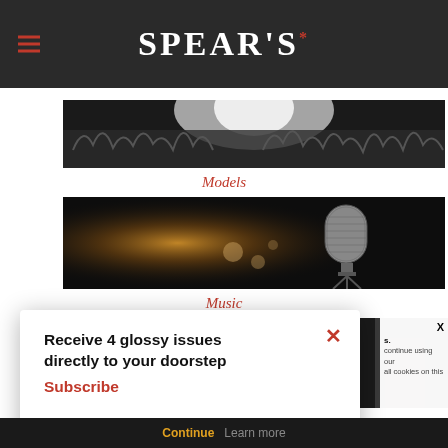SPEAR'S
[Figure (photo): Crowd scene at a fashion show or event, silhouettes and lights, Models category image]
Models
[Figure (photo): Vintage microphone on stage with warm glowing light in background, Music category image]
Music
[Figure (photo): Partial image visible behind popup, dark tones]
Receive 4 glossy issues directly to your doorstep
Subscribe
es.
continue using our
all cookies on this
Continue  Learn more